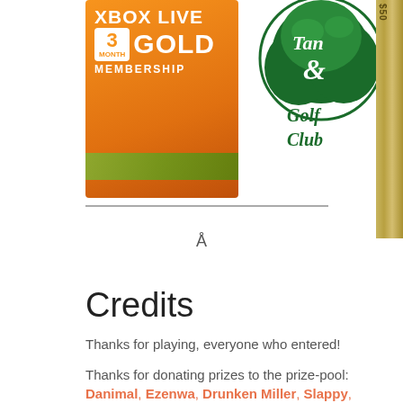[Figure (photo): Top portion showing Xbox Live 3 Month Gold Membership card, a golf club logo with tree and 'Tan & Golf Club' text, and a dollar bill strip on the right edge. A separator line and the character Å appear below the images.]
Credits
Thanks for playing, everyone who entered!
Thanks for donating prizes to the prize-pool:
Danimal, Ezenwa, Drunken Miller, Slappy, Brookshire Golf Club (fb)
Thanks to the artist who created the Squigly graphic